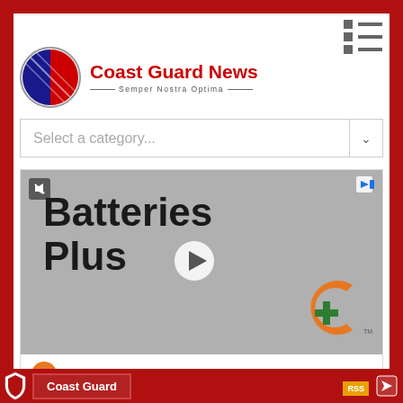[Figure (logo): Coast Guard News logo with circular emblem and red text]
Select a category...
[Figure (screenshot): Batteries Plus advertisement video with play button and location info]
Coast Guard